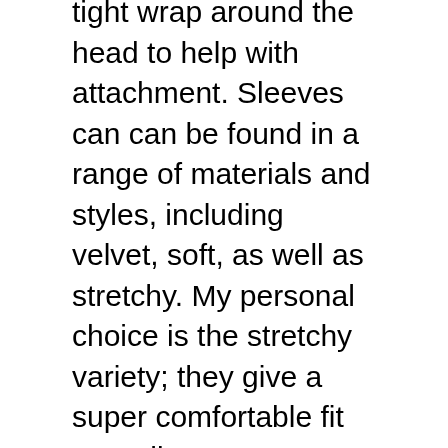tight wrap around the head to help with attachment. Sleeves can can be found in a range of materials and styles, including velvet, soft, as well as stretchy. My personal choice is the stretchy variety; they give a super comfortable fit as well as are surprisingly comfortable overall. The cloth ones have a tendency to slide down throughout several weeks, producing an unclean looking manhood.
If you’re seeking an extra permanent choice, you can acquire penis sleeves. They are available in 2 fundamental styles: sticky (which is where the penis gets adhered to the sleeve) as well as nonstick. If you uncommitted about showing your sleeve off, sticky versions are great, but if you’re